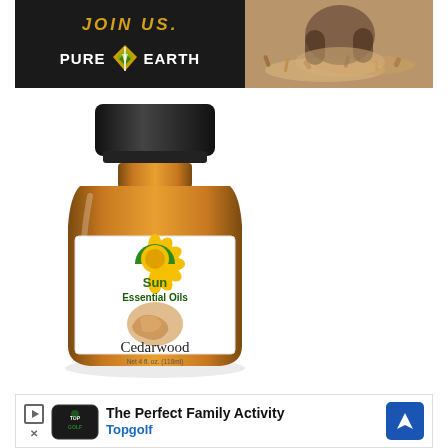[Figure (advertisement): Pure Earth 'JOIN US.' banner ad with dark background on left showing Pure Earth logo (diamond shape with layers), and a photo of a person working with sawdust/wood shavings on the right]
[Figure (photo): Sun Essential Oils Cedarwood essential oil bottle - amber glass bottle with black cap, white label showing Sun Essential Oils logo (sunflower), Cedarwood text, and cedar wood image. Net 4 fl. oz. (118ml)]
[Figure (advertisement): Topgolf advertisement: 'The Perfect Family Activity' with Topgolf logo and blue direction/navigation arrow icon on right]